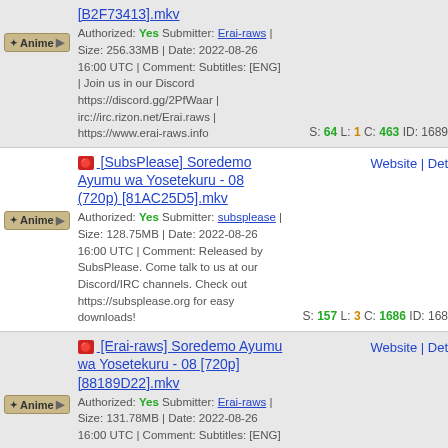[B2F73413].mkv Authorized: Yes Submitter: Erai-raws | Size: 256.33MB | Date: 2022-08-26 16:00 UTC | Comment: Subtitles: [ENG] | Join us in our Discord https://discord.gg/2PfWaar | irc://irc.rizon.net/Erai.raws | https://www.erai-raws.info S: 64 L: 1 C: 463 ID: 1689
[SubsPlease] Soredemo Ayumu wa Yosetekuru - 08 (720p) [81AC25D5].mkv Authorized: Yes Submitter: subsplease | Size: 128.75MB | Date: 2022-08-26 16:00 UTC | Comment: Released by SubsPlease. Come talk to us at our Discord/IRC channels. Check out https://subsplease.org for easy downloads! S: 157 L: 3 C: 1686 ID: 1689 Website | Det
[Erai-raws] Soredemo Ayumu wa Yosetekuru - 08 [720p] [88189D22].mkv Authorized: Yes Submitter: Erai-raws | Size: 131.78MB | Date: 2022-08-26 16:00 UTC | Comment: Subtitles: [ENG] | Join us in our Discord https://discord.gg/2PfWaar | irc://irc.rizon.net/Erai.raws | https://www.erai-raws.info S: 20 L: 1 C: 214 ID: 1689 Website | Det
[Anime Land] Misaki no Mayoiga (BDRip 1080p Hi10P DTS-HD) [F77F92C4].mkv Submitter: Anime Land | Size: 9.78GB | Date: 2022-08-26 15:37 UTC | Comment: ![alt text] Det